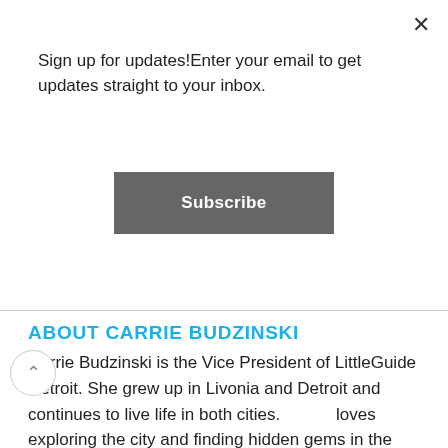Sign up for updates!Enter your email to get updates straight to your inbox.
Subscribe
[Figure (photo): Circular cropped portrait photo of a woman wearing a dark off-shoulder top, with brown wavy hair, photographed from shoulders up.]
ABOUT CARRIE BUDZINSKI
Carrie Budzinski is the Vice President of LittleGuide Detroit. She grew up in Livonia and Detroit and continues to live life in both cities. Carrie loves exploring the city and finding hidden gems in the suburbs..
All Articles from Carrie >>